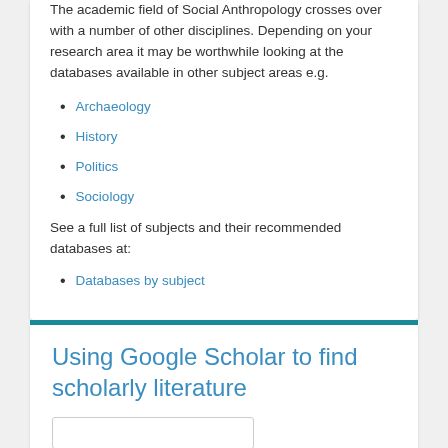The academic field of Social Anthropology crosses over with a number of other disciplines. Depending on your research area it may be worthwhile looking at the databases available in other subject areas e.g.
Archaeology
History
Politics
Sociology
See a full list of subjects and their recommended databases at:
Databases by subject
Using Google Scholar to find scholarly literature